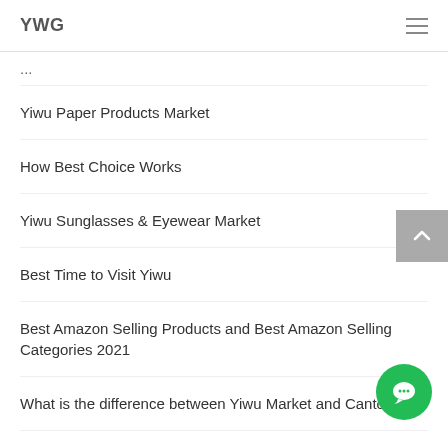YWG
Yiwu Paper Products Market
How Best Choice Works
Yiwu Sunglasses & Eyewear Market
Best Time to Visit Yiwu
Best Amazon Selling Products and Best Amazon Selling Categories 2021
What is the difference between Yiwu Market and Canton Fair
Yiwu sea freight straight down $10,000, the shipment